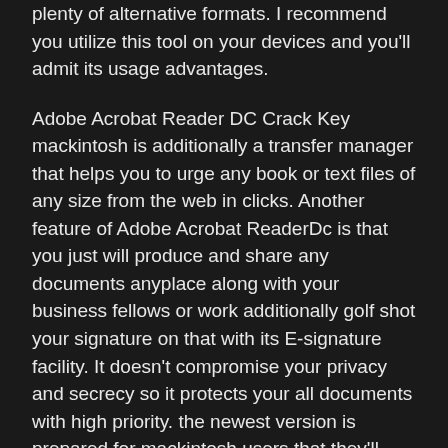plenty of alternative formats. I recommend you utilize this tool on your devices and you'll admit its usage advantages.
Adobe Acrobat Reader DC Crack Key mackintosh is additionally a transfer manager that helps you to urge any book or text files of any size from the web in clicks. Another feature of Adobe Acrobat ReaderDc is that you just will produce and share any documents anyplace along with your business fellows or work additionally golf shot your signature on that with its E-signature facility. It doesn't compromise your privacy and secrecy so it protects your all documents with high priority. the newest version is prepared for mackintosh users that they'll currently use with full access by victimization the Crack. you'll be able to activate the present version for fewer than a second.
Adobe Acrobat Reader DC  permits you to write down